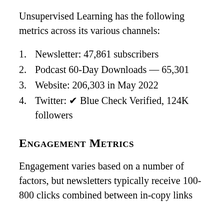Unsupervised Learning has the following metrics across its various channels:
1. Newsletter: 47,861 subscribers
2. Podcast 60-Day Downloads — 65,301
3. Website: 206,303 in May 2022
4. Twitter: ✔ Blue Check Verified, 124K followers
Engagement Metrics
Engagement varies based on a number of factors, but newsletters typically receive 100-800 clicks combined between in-copy links